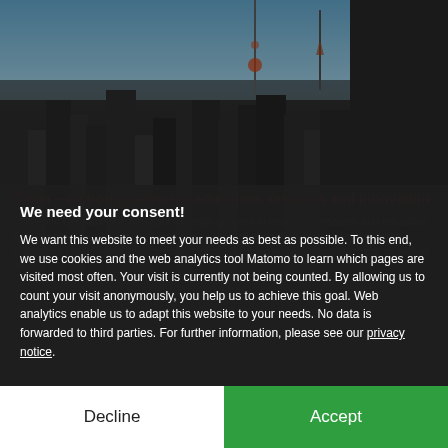[Figure (photo): City skyline photo (Shanghai) with blue sky above and dark buildings below]
We need your consent!
We want this website to meet your needs as best as possible. To this end, we use cookies and the web analytics tool Matomo to learn which pages are visited most often. Your visit is currently not being counted. By allowing us to count your visit anonymously, you help us to achieve this goal. Web analytics enable us to adapt this website to your needs. No data is forwarded to third parties. For further information, please see our privacy notice.
Decline
Accept
China – a strong partner in education, research and innovation
China and Germany are important strategic partners in respect to research and education. Both countries have intensified their cooperation in recent years and are working toward a common strength. Common topics include innovation, urbanisation, life sciences, higher education and vocational training, as well as the